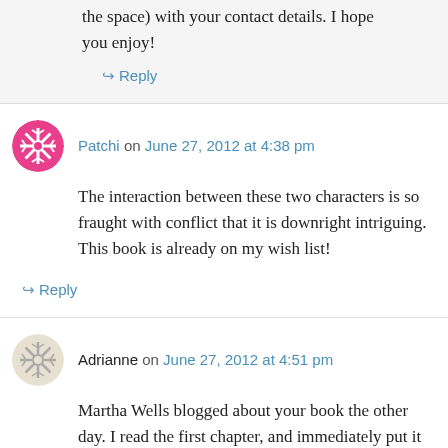the space) with your contact details. I hope you enjoy!
↪ Reply
Patchi on June 27, 2012 at 4:38 pm
The interaction between these two characters is so fraught with conflict that it is downright intriguing. This book is already on my wish list!
↪ Reply
Adrianne on June 27, 2012 at 4:51 pm
Martha Wells blogged about your book the other day. I read the first chapter, and immediately put it on my buy list.